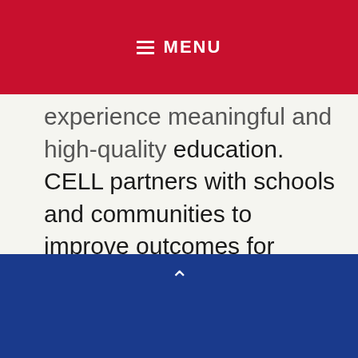≡ MENU
experience meaningful and high-quality education. CELL partners with schools and communities to improve outcomes for students of all ages by leading sustainable educational innovation and transformation across Indiana. Providing leadership that is both cutting-edge and action-oriented, CELL unites districts, schools, communities, universities and businesses to build a sense of urgency and form innovative collaborations for statewide educational and economic improvement. Learn more: cell.uindy.edu.
^